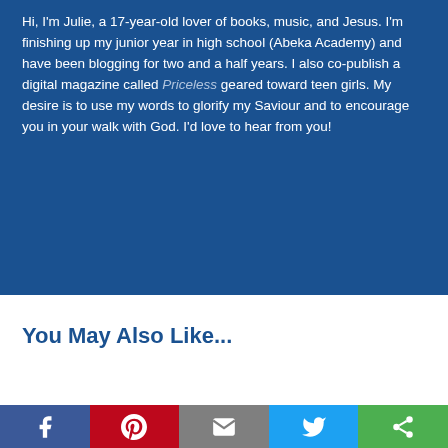Hi, I'm Julie, a 17-year-old lover of books, music, and Jesus. I'm finishing up my junior year in high school (Abeka Academy) and have been blogging for two and a half years. I also co-publish a digital magazine called Priceless geared toward teen girls. My desire is to use my words to glorify my Saviour and to encourage you in your walk with God. I'd love to hear from you!
You May Also Like...